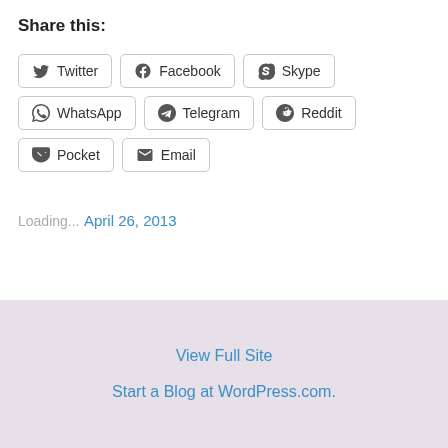Share this:
Twitter | Facebook | Skype | WhatsApp | Telegram | Reddit | Pocket | Email
Loading...
April 26, 2013
View Full Site
Start a Blog at WordPress.com.